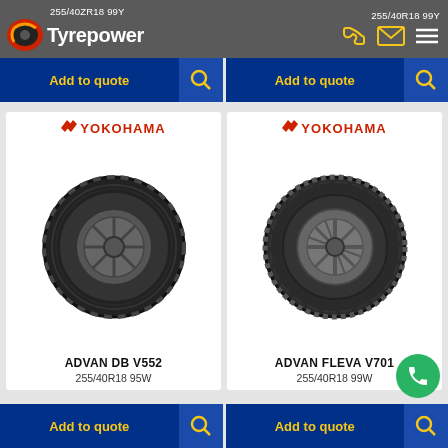Tyrepower — 255/40ZR18 99Y | 255/40R18 99Y
[Figure (screenshot): Add to quote buttons with search icons, blue background]
[Figure (logo): Yokohama logo with red arrow mark — ADVAN DB V552 tyre product card, 255/40R18 95W]
[Figure (logo): Yokohama logo with red arrow mark — ADVAN FLEVA V701 tyre product card, 255/40R18 99W]
ADVAN DB V552
255/40R18 95W
ADVAN FLEVA V701
255/40R18 99W
Add to quote | Add to quote